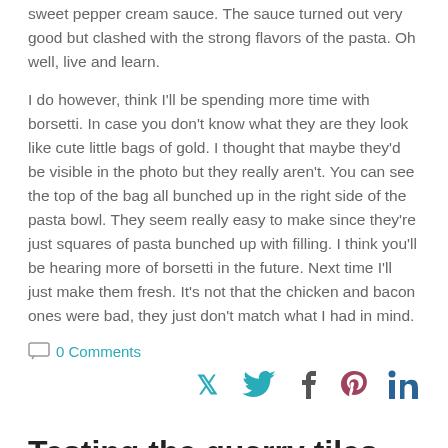sweet pepper cream sauce. The sauce turned out very good but clashed with the strong flavors of the pasta. Oh well, live and learn.
I do however, think I'll be spending more time with borsetti. In case you don't know what they are they look like cute little bags of gold. I thought that maybe they'd be visible in the photo but they really aren't. You can see the top of the bag all bunched up in the right side of the pasta bowl. They seem really easy to make since they're just squares of pasta bunched up with filling. I think you'll be hearing more of borsetti in the future. Next time I'll just make them fresh. It's not that the chicken and bacon ones were bad, they just don't match what I had in mind.
0 Comments
[Figure (infographic): Social share icons for Twitter, Facebook, Pinterest, and LinkedIn]
Testing the quarry tiles